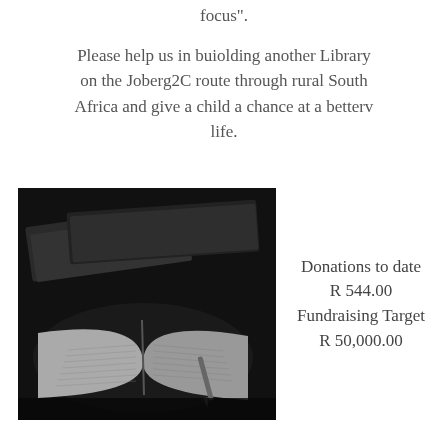focus".
Please help us in buiolding another Library on the Joberg2C route through rural South Africa and give a child a chance at a betterv life.
[Figure (photo): Black and white photograph of stacked closed books and an open book with a pen on a dark background.]
Donations to date R 544.00 Fundraising Target R 50,000.00